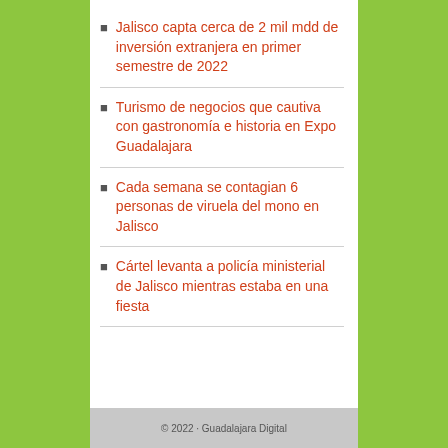Jalisco capta cerca de 2 mil mdd de inversión extranjera en primer semestre de 2022
Turismo de negocios que cautiva con gastronomía e historia en Expo Guadalajara
Cada semana se contagian 6 personas de viruela del mono en Jalisco
Cártel levanta a policía ministerial de Jalisco mientras estaba en una fiesta
© 2022 · Guadalajara Digital